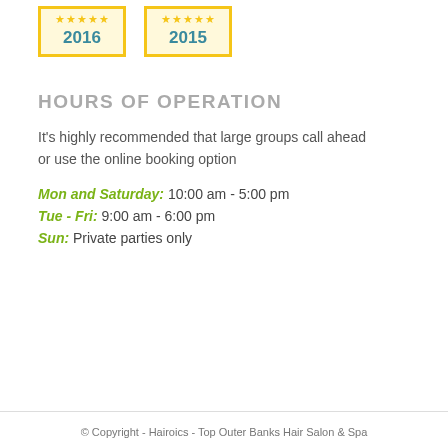[Figure (other): Two award badge boxes showing years 2016 and 2015 with five gold stars each, yellow border on cream background]
HOURS OF OPERATION
It's highly recommended that large groups call ahead or use the online booking option
Mon and Saturday: 10:00 am - 5:00 pm
Tue - Fri: 9:00 am - 6:00 pm
Sun: Private parties only
© Copyright - Hairoics - Top Outer Banks Hair Salon & Spa